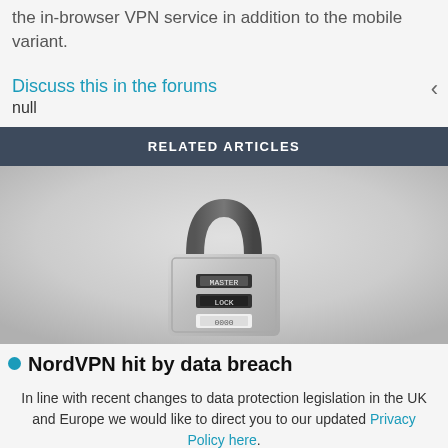the in-browser VPN service in addition to the mobile variant.
Discuss this in the forums
null
RELATED ARTICLES
[Figure (photo): A combination padlock (MASTER brand style) photographed against a light grey background.]
NordVPN hit by data breach
In line with recent changes to data protection legislation in the UK and Europe we would like to direct you to our updated Privacy Policy here.
Dismiss